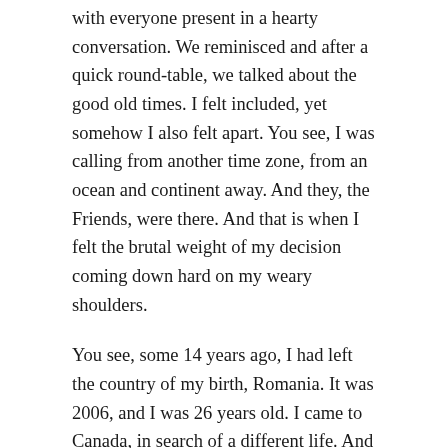with everyone present in a hearty conversation. We reminisced and after a quick round-table, we talked about the good old times. I felt included, yet somehow I also felt apart. You see, I was calling from another time zone, from an ocean and continent away. And they, the Friends, were there. And that is when I felt the brutal weight of my decision coming down hard on my weary shoulders.
You see, some 14 years ago, I had left the country of my birth, Romania. It was 2006, and I was 26 years old. I came to Canada, in search of a different life. And while my decision had been purely economic, in doing so, I had ventured but not totally lost, my personal relationships.